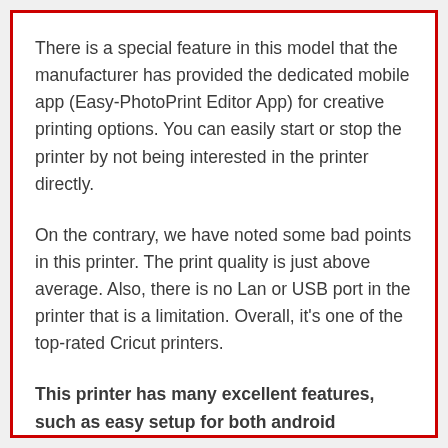There is a special feature in this model that the manufacturer has provided the dedicated mobile app (Easy-PhotoPrint Editor App) for creative printing options. You can easily start or stop the printer by not being interested in the printer directly.
On the contrary, we have noted some bad points in this printer. The print quality is just above average. Also, there is no Lan or USB port in the printer that is a limitation. Overall, it's one of the top-rated Cricut printers.
This printer has many excellent features, such as easy setup for both android